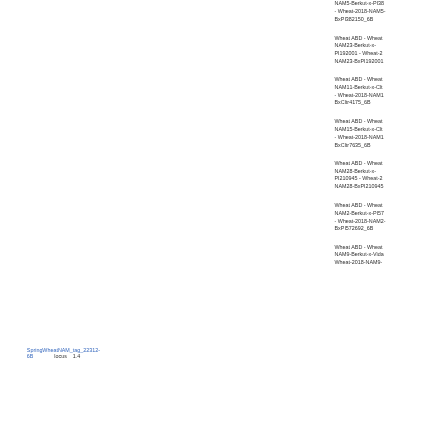NAM5-Berkut-x-PI382150 - Wheat-2018-NAM5-BxPI382150_6B
Wheat ABD - Wheat NAM23-Berkut-x-PI192001 - Wheat-2018-NAM23-BxPI192001_6B
Wheat ABD - Wheat NAM11-Berkut-x-Cltr4175 - Wheat-2018-NAM11-BxCltr4175_6B
Wheat ABD - Wheat NAM15-Berkut-x-Cltr7635 - Wheat-2018-NAM15-BxCltr7635_6B
Wheat ABD - Wheat NAM28-Berkut-x-PI210945 - Wheat-2018-NAM28-BxPI210945_6B
Wheat ABD - Wheat NAM2-Berkut-x-PI572692 - Wheat-2018-NAM2-BxPI572692_6B
Wheat ABD - Wheat NAM9-Berkut-x-Vida - Wheat-2018-NAM9-
SpringWheatNAM_tag_22312-6B    locus    1.4